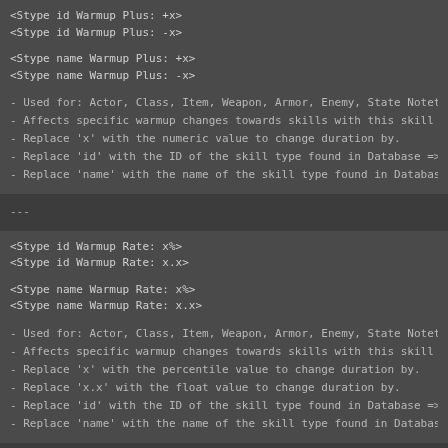<Stype id Warmup Plus: +x>
<Stype id Warmup Plus: -x>

<Stype name Warmup Plus: +x>
<Stype name Warmup Plus: -x>

- Used for: Actor, Class, Item, Weapon, Armor, Enemy, State Notetags
- Affects specific warmup changes towards skills with this skill type.
- Replace 'x' with the numeric value to change duration by.
- Replace 'id' with the ID of the skill type found in Database => Type
- Replace 'name' with the name of the skill type found in Database =>
---
<Stype id Warmup Rate: x%>
<Stype id Warmup Rate: x.x>

<Stype name Warmup Rate: x%>
<Stype name Warmup Rate: x.x>

- Used for: Actor, Class, Item, Weapon, Armor, Enemy, State Notetags
- Affects specific warmup changes towards skills with this skill type.
- Replace 'x' with the percentile value to change duration by.
- Replace 'x.x' with the float value to change duration by.
- Replace 'id' with the ID of the skill type found in Database => Type
- Replace 'name' with the name of the skill type found in Database =>
---